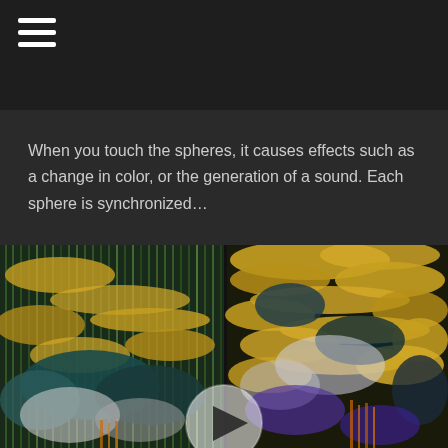When you touch the spheres, it causes effects such as a change in color, or the generation of a sound. Each sphere is synchronized…
[Figure (photo): Two side-by-side abstract digital art images featuring colorful glitch-style visuals with yellow, teal, black, and purple tones. A semi-transparent play button circle appears at the bottom center of the image.]